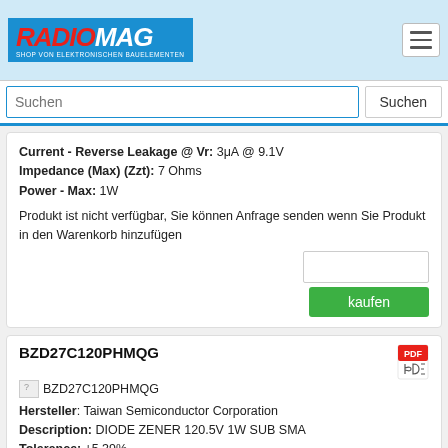RADIOMAG SHOP VON ELEKTRONISCHEN BAUELEMENTEN
Suchen
Current - Reverse Leakage @ Vr: 3μA @ 9.1V
Impedance (Max) (Zzt): 7 Ohms
Power - Max: 1W
Produkt ist nicht verfügbar, Sie können Anfrage senden wenn Sie Produkt in den Warenkorb hinzufügen
kaufen
BZD27C120PHMQG
[Figure (logo): PDF icon (Adobe Acrobat red PDF logo)]
BZD27C120PHMQG
Hersteller: Taiwan Semiconductor Corporation
Description: DIODE ZENER 120.5V 1W SUB SMA
Tolerance: ±5.39%
Packaging: Tape & Reel (TR)
Package / Case: DO-219AB
Mounting Type: Surface Mount
Operating Temperature: -55°C ~ 175°C (TJ)
Voltage - Zener (Nom) (Vz): 120.5 V
Impedance (Max) (Zzt): 300 Ohms